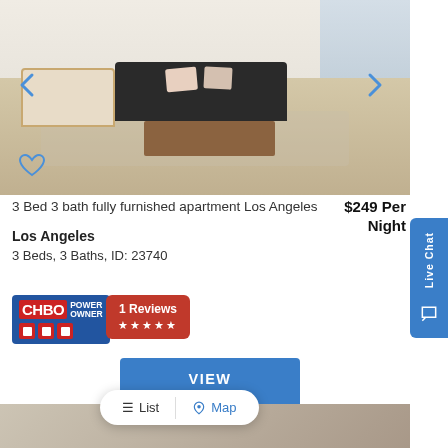[Figure (photo): Interior photo of a furnished apartment living room with black leather sectional sofa, wooden arm chair, coffee table, and a large window in background]
3 Bed 3 bath fully furnished apartment Los Angeles
$249 Per Night
Los Angeles
3 Beds, 3 Baths, ID: 23740
[Figure (logo): CHBO Power Owner badge with red logo and blue background]
1 Reviews ★★★★★
VIEW DETAIL
List  Map
[Figure (photo): Partial photo of another property listing at bottom of page]